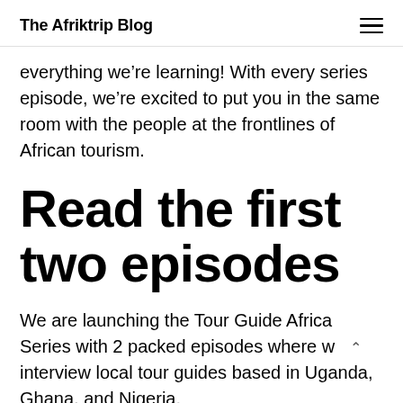The Afriktrip Blog
everything we’re learning! With every series episode, we’re excited to put you in the same room with the people at the frontlines of African tourism.
Read the first two episodes
We are launching the Tour Guide Africa Series with 2 packed episodes where we interview local tour guides based in Uganda, Ghana, and Nigeria.